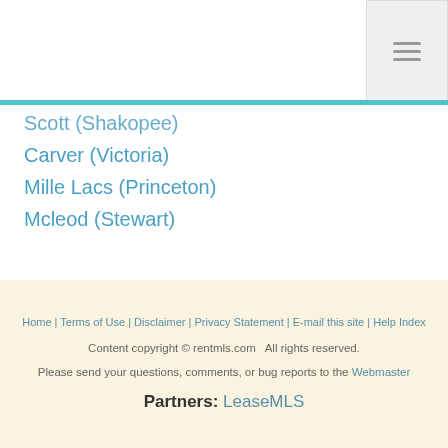Navigation menu (hamburger icon)
Scott (Shakopee)
Carver (Victoria)
Mille Lacs (Princeton)
Mcleod (Stewart)
[Figure (map): Minnesota state outline map icon with 'MN' label in orange, yellow fill with orange border]
Home | Terms of Use | Disclaimer | Privacy Statement | E-mail this site | Help Index
Content copyright © rentmls.com  All rights reserved.
Please send your questions, comments, or bug reports to the Webmaster
Partners: LeaseMLS